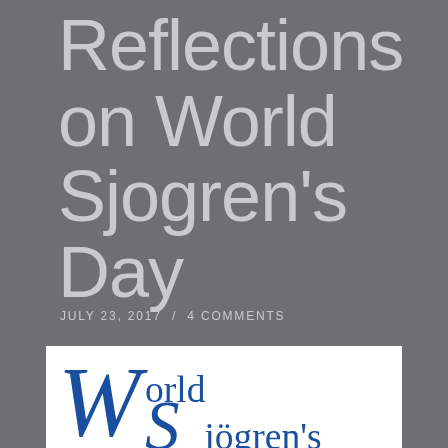Reflections on World Sjogren's Day
JULY 23, 2017 / 4 COMMENTS
[Figure (logo): World Sjögren's Day logo with decorative W and S initials in blue calligraphy style on white background, text reads 'World Sjögren's']